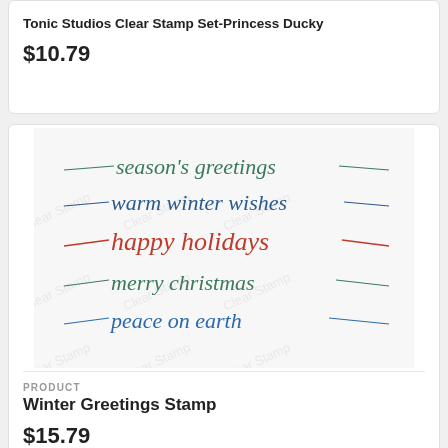Tonic Studios Clear Stamp Set-Princess Ducky
$10.79
[Figure (illustration): Winter Greetings Stamp product image showing calligraphic text phrases: season's greetings, warm winter wishes, happy holidays (in red), merry christmas, peace on earth - on a white background with watermark overlay]
PRODUCT
Winter Greetings Stamp
$15.79